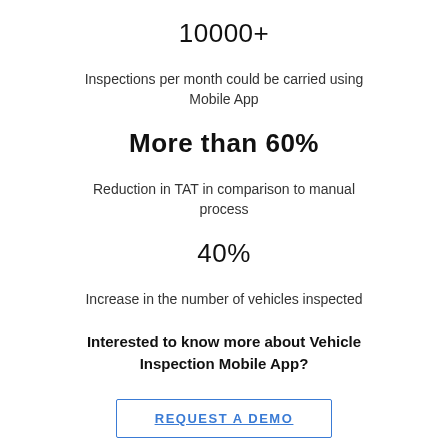10000+
Inspections per month could be carried using Mobile App
More than 60%
Reduction in TAT in comparison to manual process
40%
Increase in the number of vehicles inspected
Interested to know more about Vehicle Inspection Mobile App?
REQUEST A DEMO